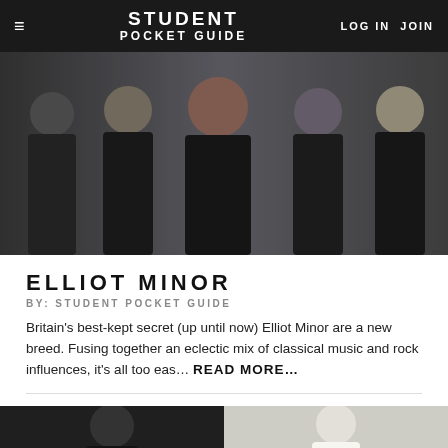STUDENT POCKET GUIDE | LOG IN  JOIN
[Figure (photo): Band photo of Elliot Minor — five young men dressed in dark clothing against a grey background]
ELLIOT MINOR
BY: STUDENT POCKET GUIDE
Britain's best-kept secret (up until now) Elliot Minor are a new breed. Fusing together an eclectic mix of classical music and rock influences, it's all too eas…  READ MORE...
[Figure (photo): Left bottom thumbnail: dark photo of a person]
[Figure (photo): Right bottom thumbnail: person in white on light background]